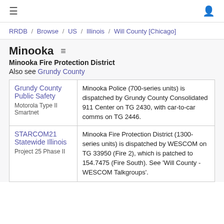≡  [user icon]
RRDB / Browse / US / Illinois / Will County [Chicago]
Minooka
Minooka Fire Protection District
Also see Grundy County
| System | Description |
| --- | --- |
| Grundy County Public Safety
Motorola Type II Smartnet | Minooka Police (700-series units) is dispatched by Grundy County Consolidated 911 Center on TG 2430, with car-to-car comms on TG 2446. |
| STARCOM21 Statewide Illinois
Project 25 Phase II | Minooka Fire Protection District (1300-series units) is dispatched by WESCOM on TG 33950 (Fire 2), which is patched to 154.7475 (Fire South). See 'Will County - WESCOM Talkgroups'. |